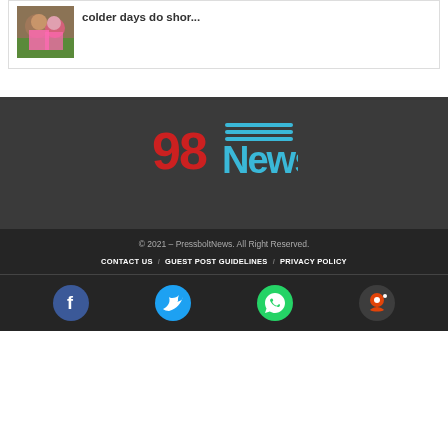[Figure (photo): Two people in a photo, one wearing a pink shirt]
colder days do shor...
[Figure (logo): 98News logo with red 98 and blue News text with horizontal lines]
© 2021 – PressboltNews. All Right Reserved.
CONTACT US / GUEST POST GUIDELINES / PRIVACY POLICY
[Figure (infographic): Social media buttons: Facebook, Twitter, WhatsApp, Reddit]